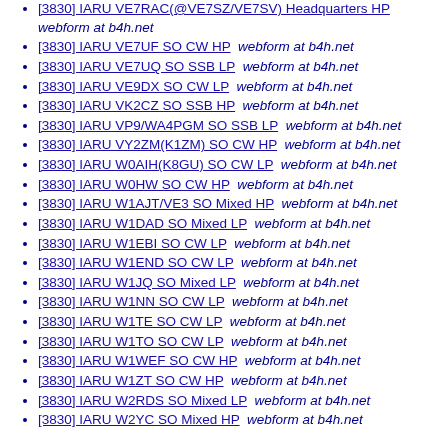[3830] IARU VE7RAC(@VE7SZ/VE7SV) Headquarters HP  webform at b4h.net
[3830] IARU VE7UF SO CW HP  webform at b4h.net
[3830] IARU VE7UQ SO SSB LP  webform at b4h.net
[3830] IARU VE9DX SO CW LP  webform at b4h.net
[3830] IARU VK2CZ SO SSB HP  webform at b4h.net
[3830] IARU VP9/WA4PGM SO SSB LP  webform at b4h.net
[3830] IARU VY2ZM(K1ZM) SO CW HP  webform at b4h.net
[3830] IARU W0AIH(K8GU) SO CW LP  webform at b4h.net
[3830] IARU W0HW SO CW HP  webform at b4h.net
[3830] IARU W1AJT/VE3 SO Mixed HP  webform at b4h.net
[3830] IARU W1DAD SO Mixed LP  webform at b4h.net
[3830] IARU W1EBI SO CW LP  webform at b4h.net
[3830] IARU W1END SO CW LP  webform at b4h.net
[3830] IARU W1JQ SO Mixed LP  webform at b4h.net
[3830] IARU W1NN SO CW LP  webform at b4h.net
[3830] IARU W1TE SO CW LP  webform at b4h.net
[3830] IARU W1TO SO CW LP  webform at b4h.net
[3830] IARU W1WEF SO CW HP  webform at b4h.net
[3830] IARU W1ZT SO CW HP  webform at b4h.net
[3830] IARU W2RDS SO Mixed LP  webform at b4h.net
[3830] IARU W2YC SO Mixed HP  webform at b4h.net